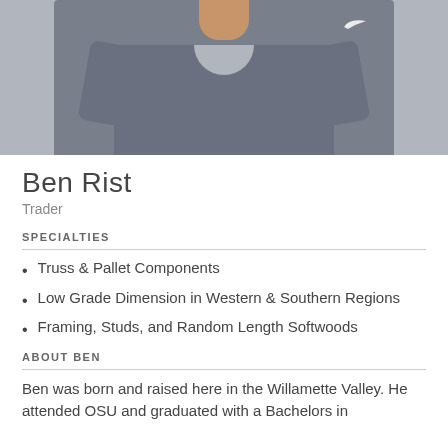[Figure (photo): Headshot photo of Ben Rist wearing a dark grey Nike t-shirt, cropped to show torso and neck area]
Ben Rist
Trader
SPECIALTIES
Truss & Pallet Components
Low Grade Dimension in Western & Southern Regions
Framing, Studs, and Random Length Softwoods
ABOUT BEN
Ben was born and raised here in the Willamette Valley. He attended OSU and graduated with a Bachelors in